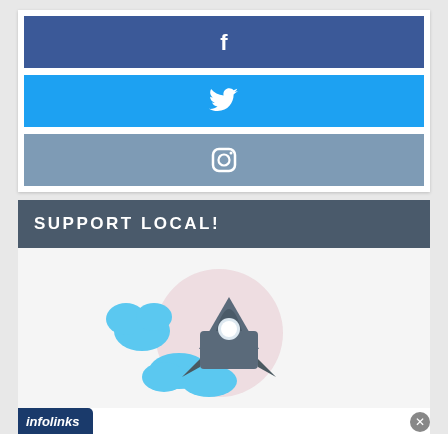[Figure (infographic): Social media buttons: Facebook (blue-purple), Twitter (blue), Instagram (steel blue), each with white icon centered]
SUPPORT LOCAL!
[Figure (illustration): Rocket ship illustration with blue smoke clouds on light gray background]
[Figure (logo): Infolinks ad network banner with close button]